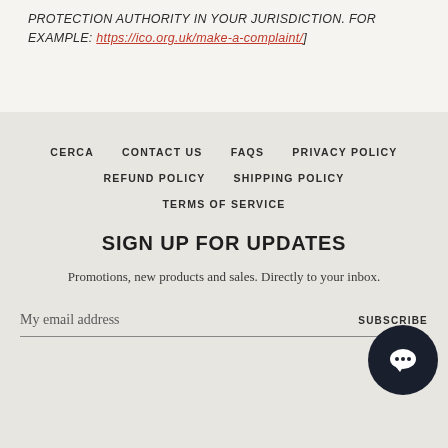PROTECTION AUTHORITY IN YOUR JURISDICTION. FOR EXAMPLE: https://ico.org.uk/make-a-complaint/]
CERCA
CONTACT US
FAQS
PRIVACY POLICY
REFUND POLICY
SHIPPING POLICY
TERMS OF SERVICE
SIGN UP FOR UPDATES
Promotions, new products and sales. Directly to your inbox.
My email address
SUBSCRIBE